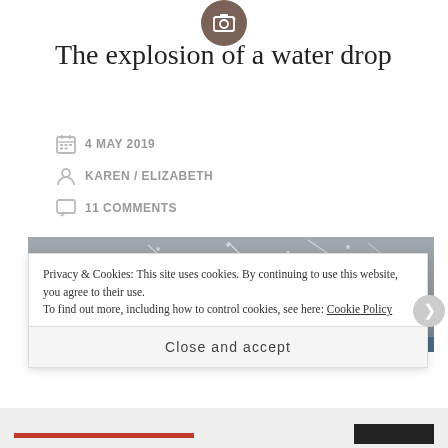[Figure (illustration): Circular avatar/profile icon in brownish-gray color with a camera icon inside]
The explosion of a water drop
4 MAY 2019
KAREN / ELIZABETH
11 COMMENTS
[Figure (photo): Close-up photograph of water droplets or splash against a gray/blue background surface, showing scattered water drops]
Privacy & Cookies: This site uses cookies. By continuing to use this website, you agree to their use.
To find out more, including how to control cookies, see here: Cookie Policy
Close and accept